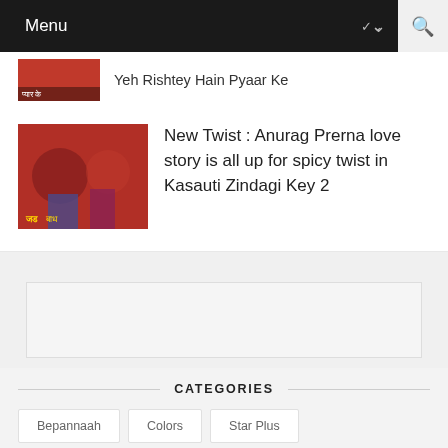Menu
Yeh Rishtey Hain Pyaar Ke
New Twist : Anurag Prerna love story is all up for spicy twist in Kasauti Zindagi Key 2
[Figure (other): Advertisement placeholder box]
CATEGORIES
Bepannaah
Colors
Star Plus
Yeh Hai Mohabbatein
Yeh Rishta Kya Kehlata Hai